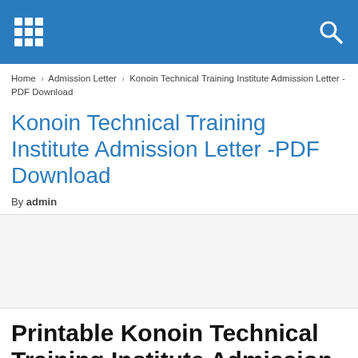Home › Admission Letter › Konoin Technical Training Institute Admission Letter -PDF Download
Konoin Technical Training Institute Admission Letter -PDF Download
By admin
[Figure (other): Advertisement or empty content area]
Printable Konoin Technical Training Institute Admission